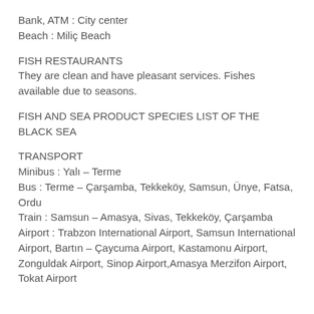Bank, ATM : City center
Beach : Miliç Beach
FISH RESTAURANTS
They are clean and have pleasant services. Fishes available due to seasons.
FISH AND SEA PRODUCT SPECIES LIST OF THE BLACK SEA
TRANSPORT
Minibus : Yalı – Terme
Bus : Terme – Çarşamba, Tekkeköy, Samsun, Ünye, Fatsa, Ordu
Train : Samsun – Amasya, Sivas, Tekkeköy, Çarşamba
Airport : Trabzon International Airport, Samsun International Airport, Bartın – Çaycuma Airport, Kastamonu Airport, Zonguldak Airport, Sinop Airport, Amasya Merzifon Airport, Tokat Airport